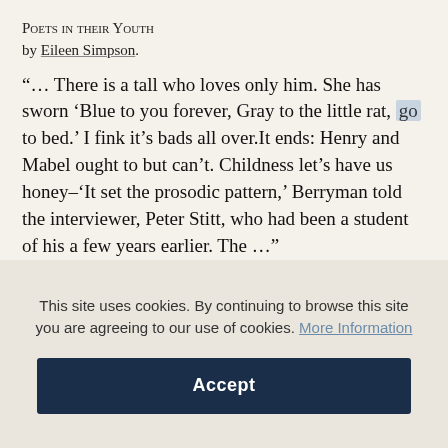Poets in their Youth by Eileen Simpson.
“… There is a tall who loves only him. She has sworn ‘Blue to you forever, Gray to the little rat, go to bed.’ I fink it’s bads all over.It ends: Henry and Mabel ought to but can’t. Childness let’s have us honey–‘It set the prosodic pattern,’ Berryman told the interviewer, Peter Stitt, who had been a student of his a few years earlier. The …”
This site uses cookies. By continuing to browse this site you are agreeing to our use of cookies. More Information
Accept